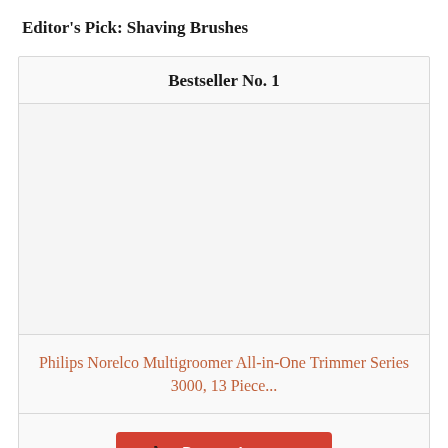Editor's Pick: Shaving Brushes
Bestseller No. 1
[Figure (other): Product image area (blank/placeholder) for Philips Norelco Multigroomer All-in-One Trimmer Series 3000, 13 Piece...]
Philips Norelco Multigroomer All-in-One Trimmer Series 3000, 13 Piece...
Buy on Amazon